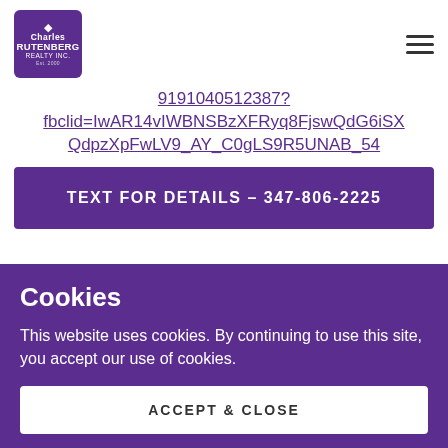[Figure (logo): Charles Rutenberg Realty logo, purple square with diamond icon and text]
9191040512387?fbclid=IwAR14vIWBNSBzXFRyq8FjswQdG6iSXQdpzXpFwLV9_AY_C0gLS9R5UNAB_54
TEXT FOR DETAILS – 347-806-2225
Cookies
This website uses cookies. By continuing to use this site, you accept our use of cookies.
ACCEPT & CLOSE